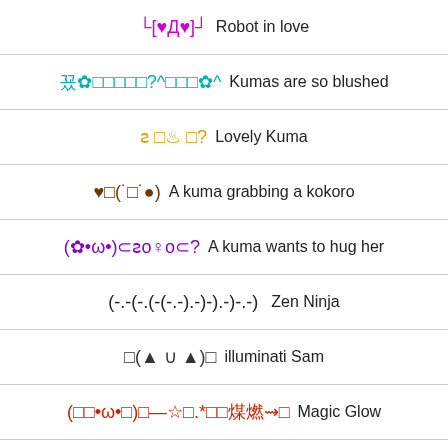└[♥Д♥]┘  Robot in love
꾰✿□□□□□?^□□□✿^  Kumas are so blushed
ƨ □♨ □?  Lovely Kuma
♥□(˙□˙●)  A kuma grabbing a kokoro
(✿•ω•)⊂ƨo♀o⊂?  A kuma wants to hug her
(-.-(-.(-(-.-).-)-).-)-.-)  Zen Ninja
□(▲ ∪ ▲)□  illuminati Sam
(□□•ω•□)□—☆□.*□□煤燃⇝□  Magic Glow
✧*□9(´□` □)  Magic Bath